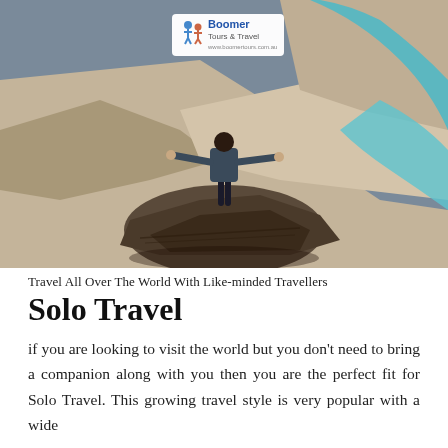[Figure (photo): Aerial/elevated view of a person standing on a rocky outcrop with arms outstretched, overlooking a sandy landscape with a turquoise river winding through it. A 'Boomer Tours & Travel' logo watermark is overlaid at the top center of the image.]
Travel All Over The World With Like-minded Travellers
Solo Travel
if you are looking to visit the world but you don't need to bring a companion along with you then you are the perfect fit for Solo Travel. This growing travel style is very popular with a wide